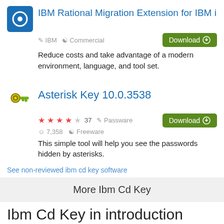IBM Rational Migration Extension for IBM i
IBM · Commercial
Reduce costs and take advantage of a modern environment, language, and tool set.
Asterisk Key 10.0.3538
★★★★☆ 37 · Passware · 7,358 · Freeware
This simple tool will help you see the passwords hidden by asterisks.
See non-reviewed ibm cd key software
More Ibm Cd Key
Ibm Cd Key in introduction
IBM Information Server Console 8.1-487